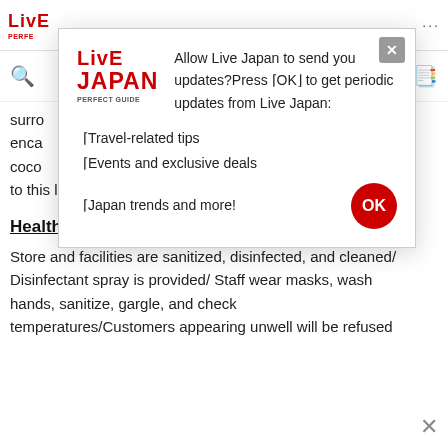[Figure (screenshot): Live Japan Perfect Guide website header with logo, search icon, and navigation]
surro

enca												k

coco																											ay

to this location to try and snap a photo of such scenery.
[Figure (screenshot): Modal dialog from Live Japan website asking to allow push notifications. Contains Live Japan logo, message 'Allow Live Japan to send you updates? Press OK to get periodic updates from Live Japan:' with bullet points: Travel-related tips, Events and exclusive deals, Japan trends and more! and an OK button.]
Health & Safety Measures
Store and facilities are sanitized, disinfected, and cleaned/ Disinfectant spray is provided/ Staff wear masks, wash hands, sanitize, gargle, and check temperatures/Customers appearing unwell will be refused